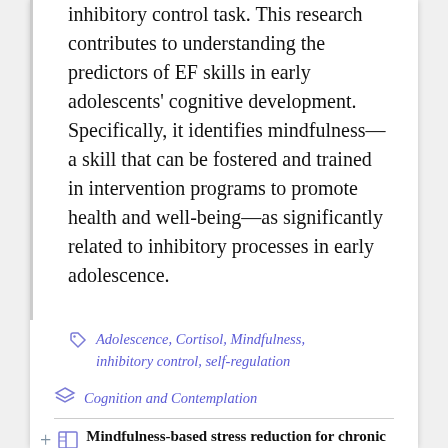…ability (r = .314, p = .01) on the inhibitory control task. This research contributes to understanding the predictors of EF skills in early adolescents' cognitive development. Specifically, it identifies mindfulness—a skill that can be fostered and trained in intervention programs to promote health and well-being—as significantly related to inhibitory processes in early adolescence.
Adolescence, Cortisol, Mindfulness, inhibitory control, self-regulation
Cognition and Contemplation
Mindfulness-based stress reduction for chronic pain conditions: Variation in treatment outcomes and role of home meditation practice (2010…